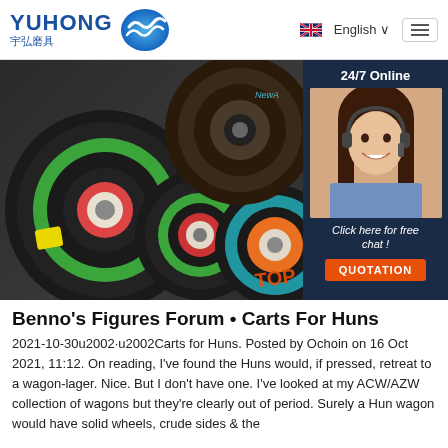[Figure (logo): Yuhong abrasives company logo with blue wave icon and Chinese characters 宇弘磨具]
[Figure (screenshot): Navigation bar with English language selector and hamburger menu]
[Figure (photo): Product photo showing multiple grinding/cutting discs with green, blue, orange labels. Overlaid with a 24/7 online chat widget showing a female customer service agent, 'Click here for free chat!' text, and an orange QUOTATION button]
Benno's Figures Forum • Carts For Huns
2021-10-30u2002·u2002Carts for Huns. Posted by Ochoin on 16 Oct 2021, 11:12. On reading, I've found the Huns would, if pressed, retreat to a wagon-lager. Nice. But I don't have one. I've looked at my ACW/AZW collection of wagons but they're clearly out of period. Surely a Hun wagon would have solid wheels, crude sides & the